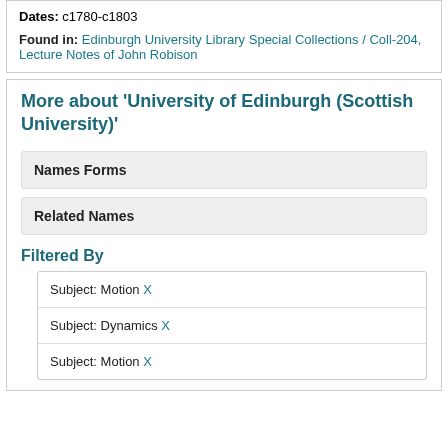Dates: c1780-c1803
Found in: Edinburgh University Library Special Collections / Coll-204, Lecture Notes of John Robison
More about 'University of Edinburgh (Scottish University)'
Names Forms
Related Names
Filtered By
Subject: Motion X
Subject: Dynamics X
Subject: Motion X